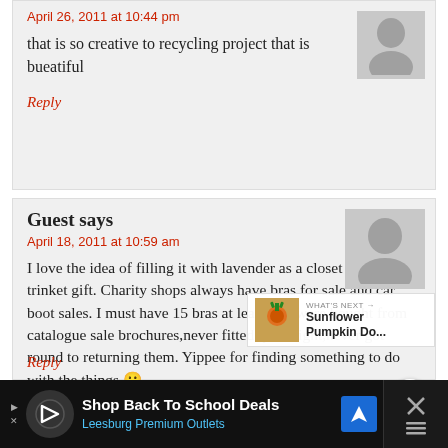April 26, 2011 at 10:44 pm
that is so creative to recycling project that is bueatiful
Reply
Guest says
April 18, 2011 at 10:59 am
I love the idea of filling it with lavender as a closet freshener trinket gift. Charity shops always have bras for sale and car boot sales. I must have 15 bras at least that were bought from catalogue sale brochures,never fitted quite right,never got round to returning them. Yippee for finding something to do with the things 🙂
Reply
WHAT'S NEXT → Sunflower Pumpkin Do...
Shop Back To School Deals Leesburg Premium Outlets